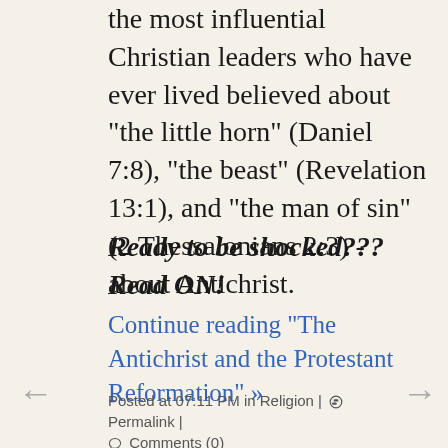the most influential Christian leaders who have ever lived believed about "the little horn" (Daniel 7:8), "the beast" (Revelation 13:1), and "the man of sin" (2 Thessalonians 2:3) - about Antichrist.
Ready to be shocked??? Read ON!
Continue reading "The Antichrist and the Protestant Reformation" »
Posted at 07:11 PM in Religion | Permalink | Comments (0)